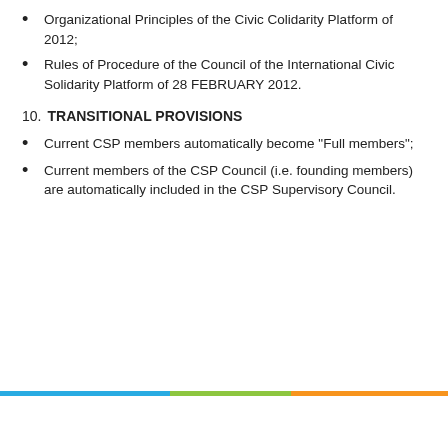Organizational Principles of the Civic Colidarity Platform of 2012;
Rules of Procedure of the Council of the International Civic Solidarity Platform of 28 FEBRUARY 2012.
10. TRANSITIONAL PROVISIONS
Current CSP members automatically become "Full members";
Current members of the CSP Council (i.e. founding members) are automatically included in the CSP Supervisory Council.